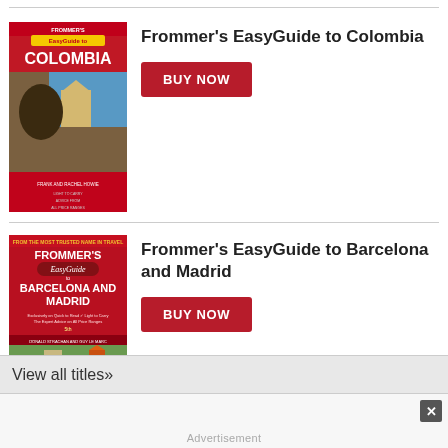[Figure (illustration): Top strip of a book cover (teal/turquoise colored), partially visible at the top of the page.]
[Figure (illustration): Frommer's EasyGuide to Colombia book cover. Red cover with FROMMER'S and COLOMBIA text, featuring a horse statue and church architecture.]
Frommer's EasyGuide to Colombia
BUY NOW
[Figure (illustration): Frommer's EasyGuide to Barcelona and Madrid book cover. Red cover with FROMMER'S EasyGuide branding and aerial city photo.]
Frommer's EasyGuide to Barcelona and Madrid
BUY NOW
View all titles»
Advertisement